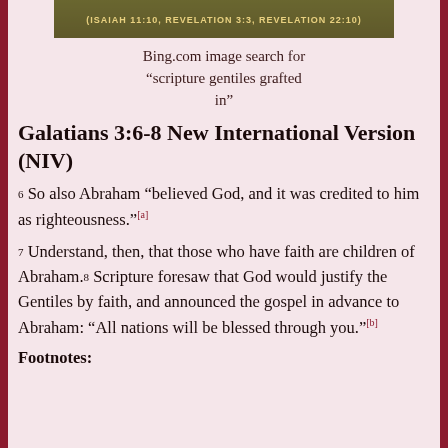[Figure (photo): Partial screenshot of a decorative image with text reading '(ISAIAH 11:10, REVELATION 3:3, REVELATION 22:10)' on a dark olive/brown textured background.]
Bing.com image search for “scripture gentiles grafted in”
Galatians 3:6-8 New International Version (NIV)
6 So also Abraham “believed God, and it was credited to him as righteousness.”[a]
7 Understand, then, that those who have faith are children of Abraham. 8 Scripture foresaw that God would justify the Gentiles by faith, and announced the gospel in advance to Abraham: “All nations will be blessed through you.”[b]
Footnotes: